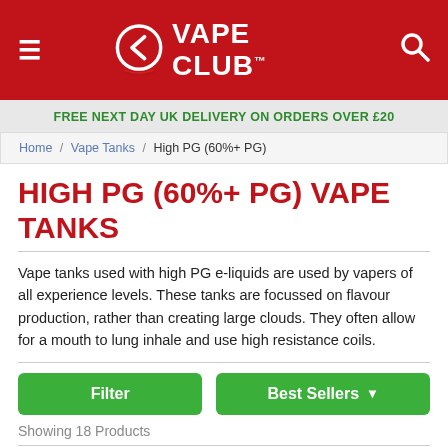[Figure (logo): Vape Club logo — red header with hamburger menu icon on left, circular arrow logo with 'VAPE CLUB™' text in center, search icon on right]
FREE NEXT DAY UK DELIVERY ON ORDERS OVER £20
Home / Vape Tanks / High PG (60%+ PG)
HIGH PG (60%+ PG) VAPE TANKS
Vape tanks used with high PG e-liquids are used by vapers of all experience levels. These tanks are focussed on flavour production, rather than creating large clouds. They often allow for a mouth to lung inhale and use high resistance coils.
Filter | Best Sellers ▾
Showing 18 Products
[Figure (photo): Three vape tank product thumbnails partially visible at bottom of page — left: dark cylindrical tank top, center: silver/chrome tank, right: black rounded tank]